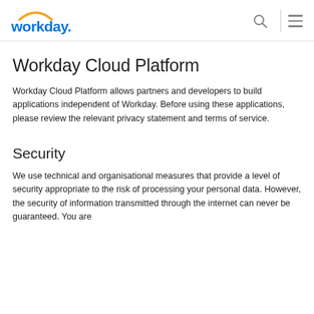workday.
Workday Cloud Platform
Workday Cloud Platform allows partners and developers to build applications independent of Workday. Before using these applications, please review the relevant privacy statement and terms of service.
Security
We use technical and organisational measures that provide a level of security appropriate to the risk of processing your personal data. However, the security of information transmitted through the internet can never be guaranteed. You are